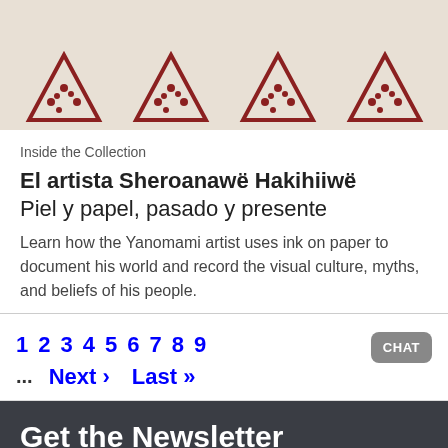[Figure (photo): Top portion of a fabric or tote bag with repeated pizza slice illustrations printed in dark red/brown ink on a cream/beige background.]
Inside the Collection
El artista Sheroanawë Hakihiiwë
Piel y papel, pasado y presente
Learn how the Yanomami artist uses ink on paper to document his world and record the visual culture, myths, and beliefs of his people.
1  2  3  4  5  6  7  8  9 ... Next › Last »
Get the Newsletter